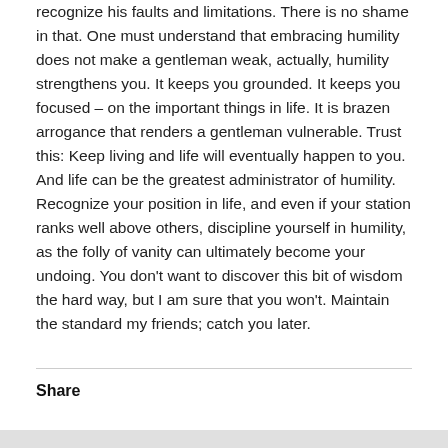recognize his faults and limitations. There is no shame in that. One must understand that embracing humility does not make a gentleman weak, actually, humility strengthens you. It keeps you grounded. It keeps you focused – on the important things in life. It is brazen arrogance that renders a gentleman vulnerable. Trust this: Keep living and life will eventually happen to you. And life can be the greatest administrator of humility. Recognize your position in life, and even if your station ranks well above others, discipline yourself in humility, as the folly of vanity can ultimately become your undoing. You don't want to discover this bit of wisdom the hard way, but I am sure that you won't. Maintain the standard my friends; catch you later.
Share